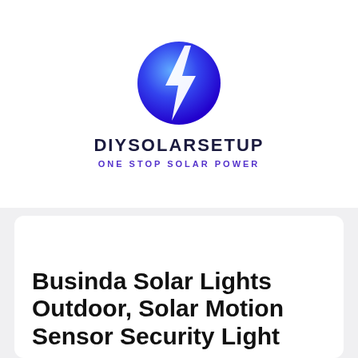[Figure (logo): DIYSolarSetup logo: blue circular gradient background with white lightning bolt, brand name DIYSOLARSETUP in bold dark navy, tagline ONE STOP SOLAR POWER in purple]
Businda Solar Lights Outdoor, Solar Motion Sensor Security Light